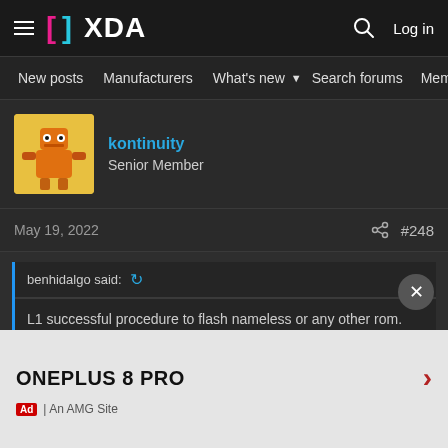XDA Forums — Navigation bar with hamburger, XDA logo, search icon, Log in
New posts | Manufacturers | What's new ▼ | Search forums | Membe >
kontinuity
Senior Member
May 19, 2022  #248
benhidalgo said: ↩
L1 successful procedure to flash nameless or any other rom.
1. MSM tool your device to stock
2. OTA 11.2.10.10 within settings.
3. Download 11.2.10.10 signed.
4. Flash…
ONEPLUS 8 PRO
Ad | An AMG Site